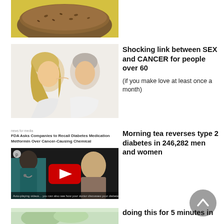[Figure (photo): Slice of brown bread on yellow background, cropped at top]
[Figure (photo): Older couple lying close together face to face, smiling]
Shocking link between SEX and CANCER for people over 60
(if you make love at least once a month)
FDA Asks Companies to Recall Diabetes Medication Metformin Over Cancer-Causing Chemical
[Figure (screenshot): YouTube video thumbnail showing medical professional with patient, red play button overlay]
Morning tea reverses type 2 diabetes in 246,282 men and women
[Figure (photo): Partial green/light colored image at bottom, cropped]
doing this for 5 minutes in